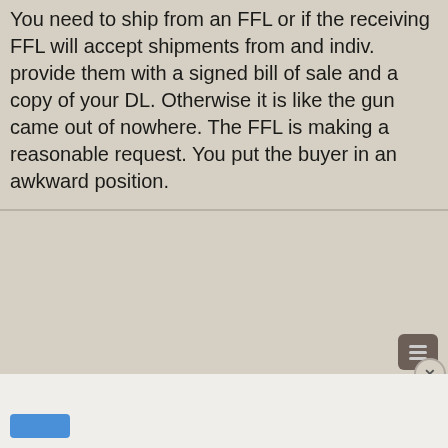You need to ship from an FFL or if the receiving FFL will accept shipments from and indiv. provide them with a signed bill of sale and a copy of your DL. Otherwise it is like the gun came out of nowhere. The FFL is making a reasonable request. You put the buyer in an awkward position.